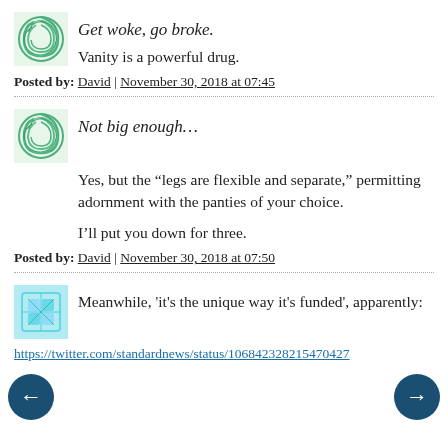[Figure (illustration): Green swirl avatar icon for first comment]
Get woke, go broke.
Vanity is a powerful drug.
Posted by: David | November 30, 2018 at 07:45
[Figure (illustration): Green swirl avatar icon for second comment]
Not big enough…
Yes, but the “legs are flexible and separate,” permitting adornment with the panties of your choice.

I’ll put you down for three.
Posted by: David | November 30, 2018 at 07:50
[Figure (illustration): Blue/teal geometric avatar icon for third comment]
Meanwhile, 'it's the unique way it's funded', apparently:
https://twitter.com/standardnews/status/106842328215470427